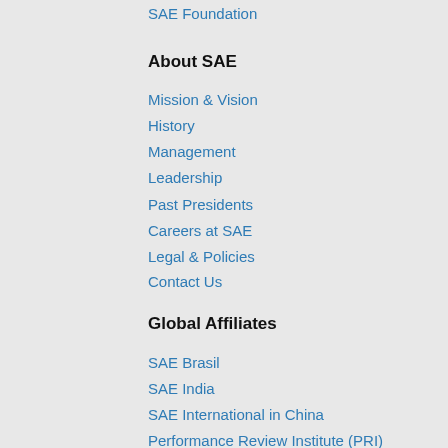SAE Foundation
About SAE
Mission & Vision
History
Management
Leadership
Past Presidents
Careers at SAE
Legal & Policies
Contact Us
Global Affiliates
SAE Brasil
SAE India
SAE International in China
Performance Review Institute (PRI)
SAE Industry Technologies Consortia
TechBriefs Media Group
Connect
[Figure (illustration): Social media icons for Facebook, Twitter, and LinkedIn in blue]
© SAE International. All rights reserved.